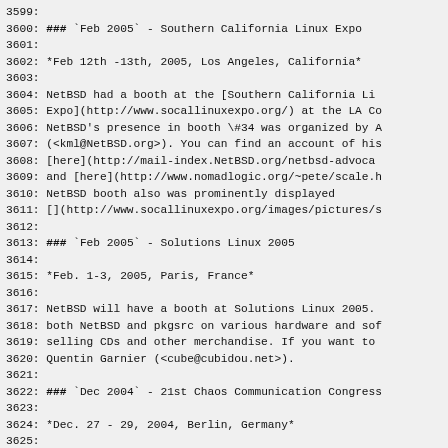3599:
3600: ### `Feb 2005` - Southern California Linux Expo
3601:
3602: *Feb 12th -13th, 2005, Los Angeles, California*
3603:
3604: NetBSD had a booth at the [Southern California Li
3605: Expo](http://www.socallinuxexpo.org/) at the LA Co
3606: NetBSD's presence in booth \#34 was organized by A
3607: (<kml@NetBSD.org>). You can find an account of his
3608: [here](http://mail-index.NetBSD.org/netbsd-advoca
3609: and [here](http://www.nomadlogic.org/~pete/scale.h
3610: NetBSD booth also was prominently displayed
3611: [](http://www.socallinuxexpo.org/images/pictures/s
3612:
3613: ### `Feb 2005` - Solutions Linux 2005
3614:
3615: *Feb. 1-3, 2005, Paris, France*
3616:
3617: NetBSD will have a booth at Solutions Linux 2005.
3618: both NetBSD and pkgsrc on various hardware and so
3619: selling CDs and other merchandise. If you want to
3620: Quentin Garnier (<cube@cubidou.net>).
3621:
3622: ### `Dec 2004` - 21st Chaos Communication Congres
3623:
3624: *Dec. 27 - 29, 2004, Berlin, Germany*
3625:
3626: There will be a NetBSD booth at this year's [21st
3627: Congress](http://www.ccc.de/congress/2004/), and y
3628: by for hacking, drinking, fun and entertainment, o